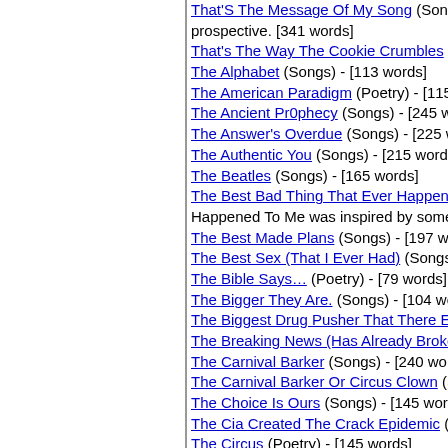That'S The Message Of My Song (Songs) Thi prospective. [341 words]
That's The Way The Cookie Crumbles (Poetry)
The Alphabet (Songs) - [113 words]
The American Paradigm (Poetry) - [115 words]
The Ancient Pr0phecy (Songs) - [245 words]
The Answer's Overdue (Songs) - [225 words]
The Authentic You (Songs) - [215 words]
The Beatles (Songs) - [165 words]
The Best Bad Thing That Ever Happened To M Happened To Me was inspired by something s
The Best Made Plans (Songs) - [197 words]
The Best Sex (That I Ever Had) (Songs) - [26
The Bible Says… (Poetry) - [79 words]
The Bigger They Are. (Songs) - [104 words]
The Biggest Drug Pusher That There Ever Wa
The Breaking News (Has Already Broken) (S
The Carnival Barker (Songs) - [240 words]
The Carnival Barker Or Circus Clown (Songs)
The Choice Is Ours (Songs) - [145 words]
The Cia Created The Crack Epidemic (Poetry
The Circus (Poetry) - [145 words]
The Code Of The Hood (Songs) - [194 words]
The Coming Of Trump (Poetry) - [128 words]
The Conversation (Did You See?) (Songs) Th commentary on a current pop star. Can you